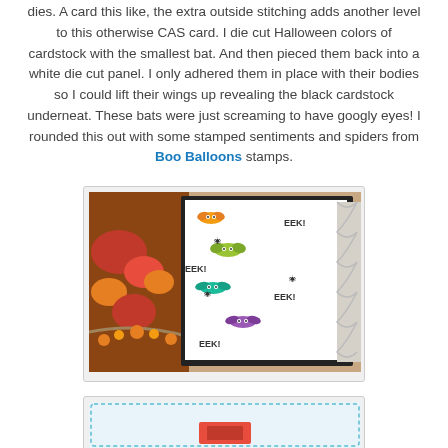dies.  A card this like, the extra outside stitching adds another level to this otherwise CAS card.  I die cut Halloween colors of cardstock with the smallest bat.  And then pieced them back into a white die cut panel.  I only adhered them in place with their bodies so I could lift their wings up revealing the black cardstock underneat.  These bats were just screaming to have googly eyes!  I rounded this out with some stamped sentiments and spiders from Boo Balloons stamps.
[Figure (photo): Photo of a Halloween card featuring colorful die-cut bats (orange, yellow-green, teal, purple) with googly eyes arranged on a white panel with 'EEK!' sentiments and small spider stamps. The card is shown on a wooden surface with fall decorations.]
[Figure (photo): Partial view of another card with a teal/blue stitched border pattern visible at the bottom of the page.]